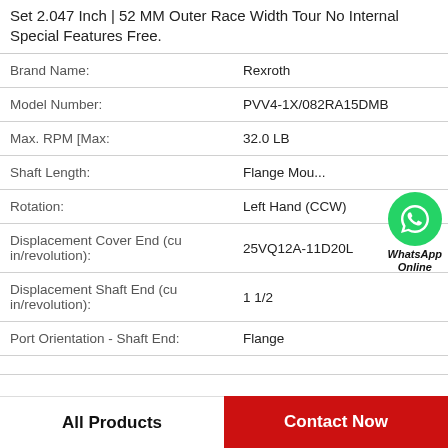Set 2.047 Inch | 52 MM Outer Race Width Tour No Internal Special Features Free.
| Property | Value |
| --- | --- |
| Brand Name: | Rexroth |
| Model Number: | PVV4-1X/082RA15DMB |
| Max. RPM [Max: | 32.0 LB |
| Shaft Length: | Flange Mou... |
| Rotation: | Left Hand (CCW) |
| Displacement Cover End (cu in/revolution): | 25VQ12A-11D20L |
| Displacement Shaft End (cu in/revolution): | 1 1/2 |
| Port Orientation - Shaft End: | Flange |
All Products    Contact Now